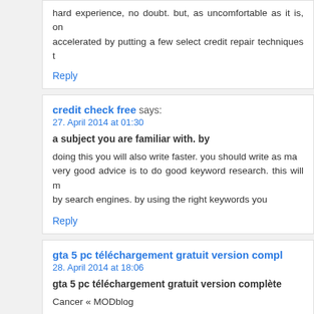hard experience, no doubt. but, as uncomfortable as it is, on accelerated by putting a few select credit repair techniques t
Reply
credit check free says: 27. April 2014 at 01:30
a subject you are familiar with. by
doing this you will also write faster. you should write as ma very good advice is to do good keyword research. this will m by search engines. by using the right keywords you
Reply
gta 5 pc téléchargement gratuit version compl says: 28. April 2014 at 18:06
gta 5 pc téléchargement gratuit version complète
Cancer « MODblog
Reply
camfrog hacker says: 29. April 2014 at 19:57
camfrog hacker